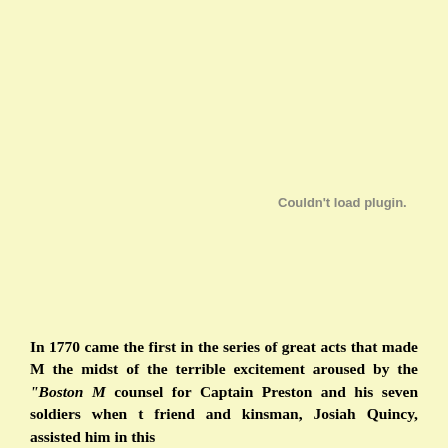Couldn't load plugin.
In 1770 came the first in the series of great acts that made M the midst of the terrible excitement aroused by the "Boston M counsel for Captain Preston and his seven soldiers when t friend and kinsman, Josiah Quincy, assisted him in this